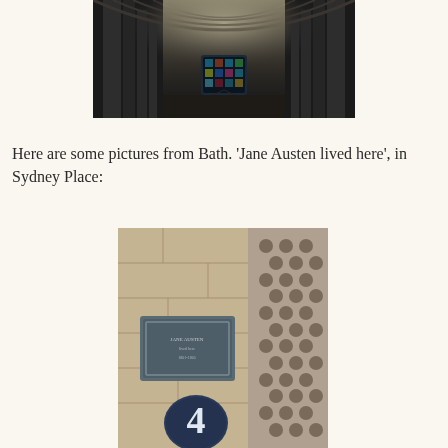[Figure (photo): Interior of a cathedral nave looking toward stained glass window, with Gothic vaulted ceiling and tall columns]
Here are some pictures from Bath. 'Jane Austen lived here', in Sydney Place:
[Figure (photo): Stone building wall with a blue commemorative plaque for Jane Austen and a large number 4 sign, with honeycomb-textured stone on the right side]